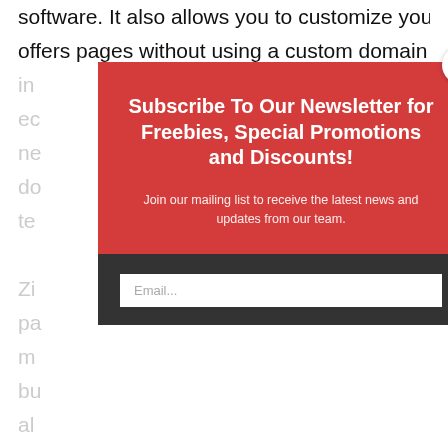software. It also allows you to customize your offers pages without using a custom domain or in... ec... ne... do... te...
Zi... pa... m... bu... al...
C... w... in... through a sales funnel and feature products in your
[Figure (screenshot): A modal popup overlay on a webpage with a red upper section containing bold white text 'Subscribe To Our Newsletter for Freebies, Special Promotions and Discounts!' and subtitle 'Join our mailing list to receive the latest news and updates from our team.' A dark grey lower section contains an email input field. A white circular close button with an X is in the top-right corner of the modal.]